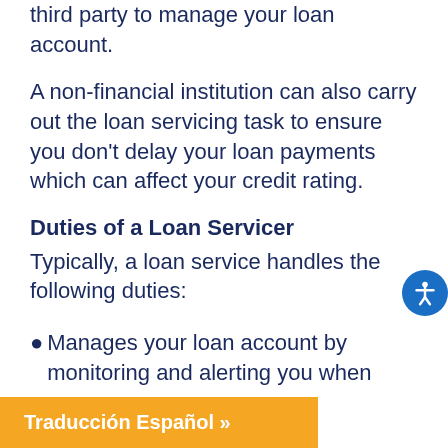third party to manage your loan account.
A non-financial institution can also carry out the loan servicing task to ensure you don't delay your loan payments which can affect your credit rating.
Duties of a Loan Servicer
Typically, a loan service handles the following duties:
Manages your loan account by monitoring and alerting you when